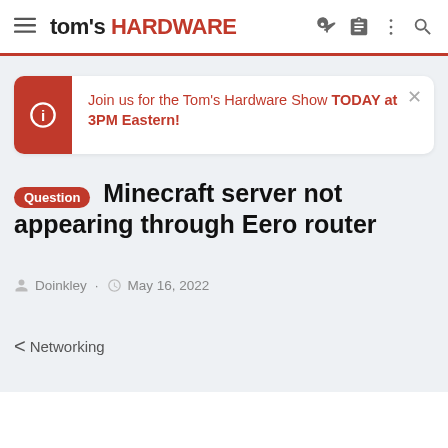tom's HARDWARE
Join us for the Tom's Hardware Show TODAY at 3PM Eastern!
Question Minecraft server not appearing through Eero router
Doinkley · May 16, 2022
< Networking